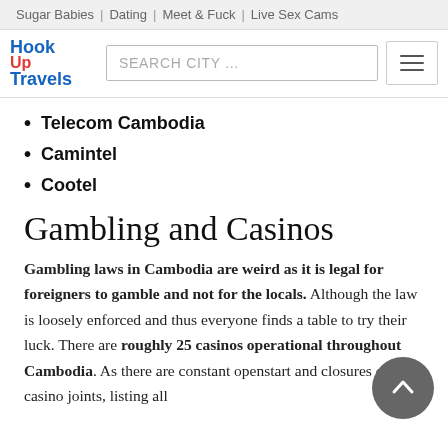Sugar Babies | Dating | Meet & Fuck | Live Sex Cams
[Figure (logo): HookUp Travels logo with search bar and hamburger menu]
Telecom Cambodia
Camintel
Cootel
Gambling and Casinos
Gambling laws in Cambodia are weird as it is legal for foreigners to gamble and not for the locals. Although the law is loosely enforced and thus everyone finds a table to try their luck. There are roughly 25 casinos operational throughout Cambodia. As there are constant openstart and closures of casino joints, listing all